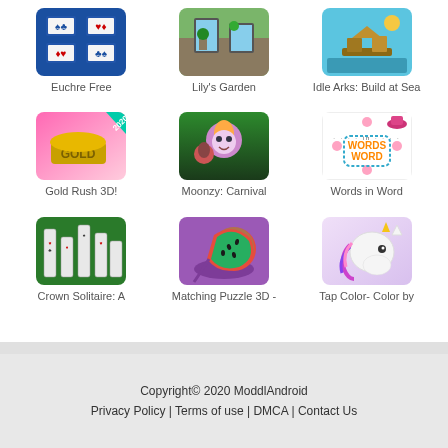[Figure (screenshot): Euchre Free game icon - card game on blue background]
Euchre Free
[Figure (screenshot): Lily's Garden game icon - garden scene]
Lily's Garden
[Figure (screenshot): Idle Arks: Build at Sea game icon - building on water]
Idle Arks: Build at Sea
[Figure (screenshot): Gold Rush 3D! game icon - gold bar on pink background with 2020 badge]
Gold Rush 3D!
[Figure (screenshot): Moonzy: Carnival game icon - cartoon characters on green background]
Moonzy: Carnival
[Figure (screenshot): Words in Word game icon - word puzzle on white background]
Words in Word
[Figure (screenshot): Crown Solitaire: A game icon - card solitaire on green background]
Crown Solitaire: A
[Figure (screenshot): Matching Puzzle 3D - game icon - watermelon slices on purple background]
Matching Puzzle 3D -
[Figure (screenshot): Tap Color- Color by game icon - unicorn on light purple background]
Tap Color- Color by
Copyright© 2020 ModdlAndroid
Privacy Policy | Terms of use | DMCA | Contact Us